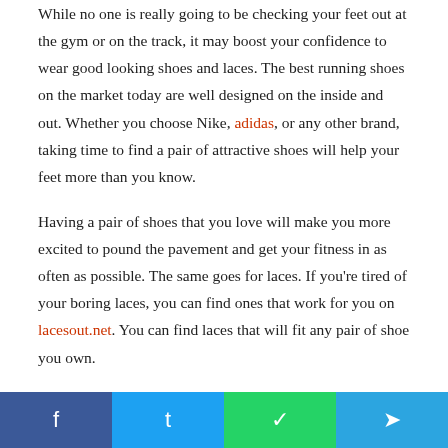While no one is really going to be checking your feet out at the gym or on the track, it may boost your confidence to wear good looking shoes and laces. The best running shoes on the market today are well designed on the inside and out. Whether you choose Nike, adidas, or any other brand, taking time to find a pair of attractive shoes will help your feet more than you know.
Having a pair of shoes that you love will make you more excited to pound the pavement and get your fitness in as often as possible. The same goes for laces. If you're tired of your boring laces, you can find ones that work for you on lacesout.net. You can find laces that will fit any pair of shoe you own.
Don't Take This Lightly
Share buttons: Facebook, Twitter, WhatsApp, Telegram